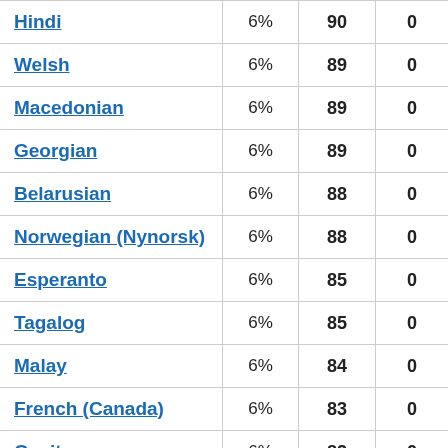| Language | % | Score | 0 |
| --- | --- | --- | --- |
| Hindi | 6% | 90 | 0 |
| Welsh | 6% | 89 | 0 |
| Macedonian | 6% | 89 | 0 |
| Georgian | 6% | 89 | 0 |
| Belarusian | 6% | 88 | 0 |
| Norwegian (Nynorsk) | 6% | 88 | 0 |
| Esperanto | 6% | 85 | 0 |
| Tagalog | 6% | 85 | 0 |
| Malay | 6% | 84 | 0 |
| French (Canada) | 6% | 83 | 0 |
| Occitan | 6% | 82 | 0 |
| Kurdish (Sorani) | 6% | 81 | 0 |